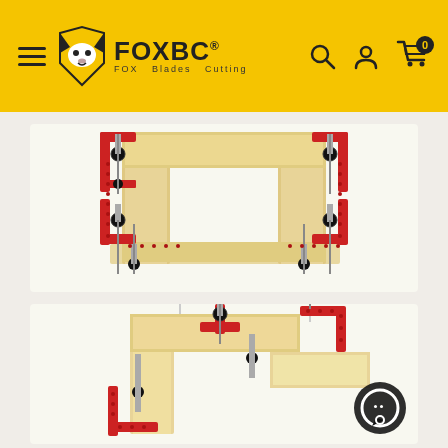FOXBC - FOX Blades Cutting
[Figure (photo): Close-up product photo of red metal corner clamps holding a wooden rectangular frame, showing the assembly jig clamps with black knobs and threaded rods securing four corners of a light wood box frame on a white background.]
[Figure (photo): Second product photo from a different angle showing red L-shaped corner clamps with black knobs and threaded adjustment rods holding wooden pieces at right angles, viewed from above on a white background.]